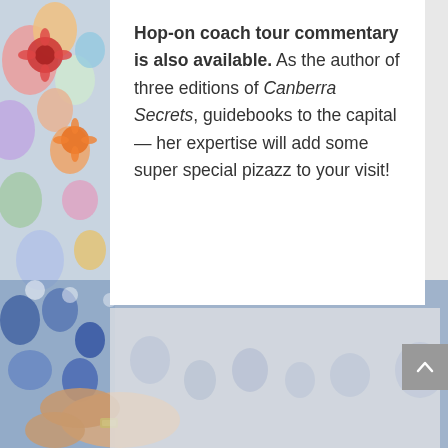[Figure (photo): A woman wearing a colorful floral dress (blue, red, orange, white flowers) visible on the left side and bottom of the page, with her hands visible in the lower portion. The background behind the text box continues with the same floral pattern.]
Hop-on coach tour commentary is also available. As the author of three editions of Canberra Secrets, guidebooks to the capital — her expertise will add some super special pizazz to your visit!